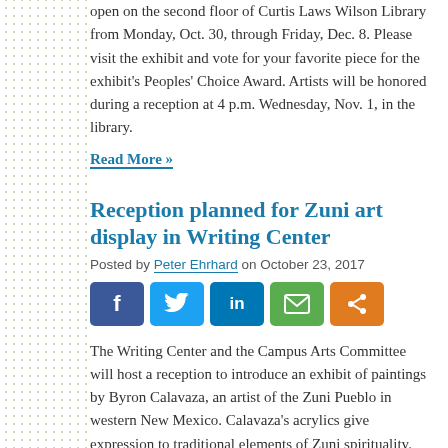open on the second floor of Curtis Laws Wilson Library from Monday, Oct. 30, through Friday, Dec. 8. Please visit the exhibit and vote for your favorite piece for the exhibit's Peoples' Choice Award. Artists will be honored during a reception at 4 p.m. Wednesday, Nov. 1, in the library.
Read More »
Reception planned for Zuni art display in Writing Center
Posted by Peter Ehrhard on October 23, 2017
[Figure (infographic): Social share buttons: Facebook, Twitter, LinkedIn, Email, Share]
The Writing Center and the Campus Arts Committee will host a reception to introduce an exhibit of paintings by Byron Calavaza, an artist of the Zuni Pueblo in western New Mexico. Calavaza's acrylics give expression to traditional elements of Zuni spirituality. Attend the opening exhibit 6:30-8:30 p.m.  Monday, Nov. 6, in the